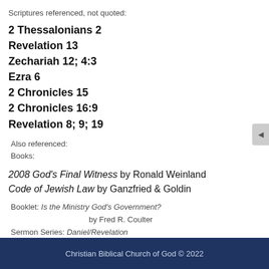Scriptures referenced, not quoted:
2 Thessalonians 2
Revelation 13
Zechariah 12; 4:3
Ezra 6
2 Chronicles 15
2 Chronicles 16:9
Revelation 8; 9; 19
Also referenced:
Books:
2008 God's Final Witness by Ronald Weinland
Code of Jewish Law by Ganzfried & Goldin
Booklet: Is the Ministry God's Government?
                            by Fred R. Coulter
Sermon Series: Daniel/Revelation
FRC: bo        Transcribed: 4/10/18
Christian Biblical Church of God © 2022